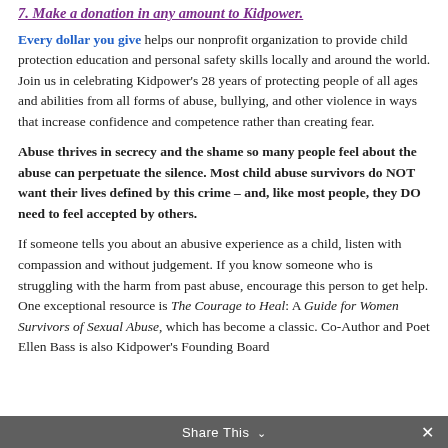7. Make a donation in any amount to Kidpower.
Every dollar you give helps our nonprofit organization to provide child protection education and personal safety skills locally and around the world. Join us in celebrating Kidpower's 28 years of protecting people of all ages and abilities from all forms of abuse, bullying, and other violence in ways that increase confidence and competence rather than creating fear.
Abuse thrives in secrecy and the shame so many people feel about the abuse can perpetuate the silence. Most child abuse survivors do NOT want their lives defined by this crime – and, like most people, they DO need to feel accepted by others.
If someone tells you about an abusive experience as a child, listen with compassion and without judgement. If you know someone who is struggling with the harm from past abuse, encourage this person to get help. One exceptional resource is The Courage to Heal: A Guide for Women Survivors of Sexual Abuse, which has become a classic. Co-Author and Poet Ellen Bass is also Kidpower's Founding Board
Share This